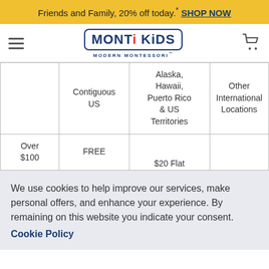Friends and Family, 20% off today.* SHOP NOW
[Figure (logo): Monti Kids - Modern Montessori logo with hamburger menu and cart icon]
|  | Contiguous US | Alaska, Hawaii, Puerto Rico & US Territories | Other International Locations |
| --- | --- | --- | --- |
| Over $100 | FREE | $20 Flat |  |
We use cookies to help improve our services, make personal offers, and enhance your experience. By remaining on this website you indicate your consent. Cookie Policy